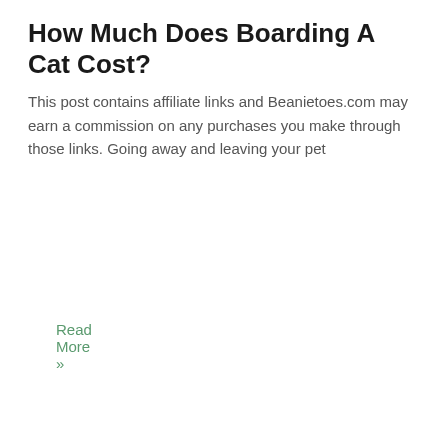How Much Does Boarding A Cat Cost?
This post contains affiliate links and Beanietoes.com may earn a commission on any purchases you make through those links. Going away and leaving your pet
Read More »